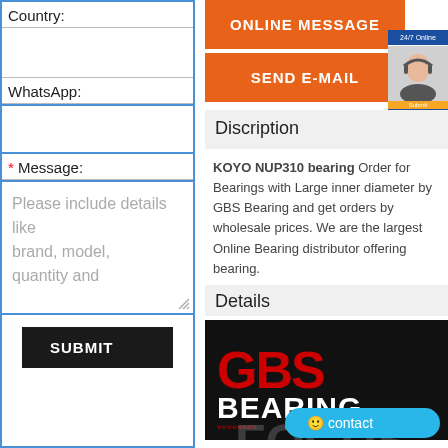Country:
WhatsApp:
* Message:
Please include details like brand, model, quantity and
SUBMIT
ONLINE MESSAGE
SEND E-MAIL
Discription
KOYO NUP310 bearing Order for Bearings with Large inner diameter by GBS Bearing and get orders by wholesale prices. We are the largest Online Bearing distributor offering bearing.
Details
[Figure (logo): GBS Bearing logo on dark background with text 'Quality Beari...' and partial text 'FOCUS' below]
contact